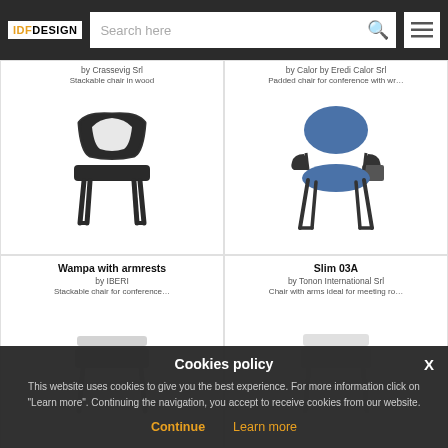IDF DESIGN — Search here
[Figure (photo): Black stackable wooden chair product photo]
by Crassevig Srl
Stackable chair in wood
[Figure (photo): Blue padded conference chair with writing tablet arm product photo]
by Calor by Eredi Calor Srl
Padded chair for conference with wr...
Wampa with armrests
by IBERI
Stackable chair for conference...
Slim 03A
by Tonon International Srl
Chair with arms ideal for meeting ro...
Cookies policy
This website uses cookies to give you the best experience. For more information click on "Learn more". Continuing the navigation, you accept to receive cookies from our website.
Continue   Learn more